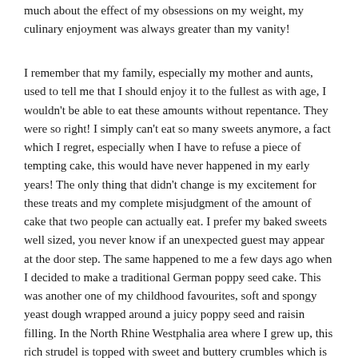much about the effect of my obsessions on my weight, my culinary enjoyment was always greater than my vanity!
I remember that my family, especially my mother and aunts, used to tell me that I should enjoy it to the fullest as with age, I wouldn't be able to eat these amounts without repentance. They were so right! I simply can't eat so many sweets anymore, a fact which I regret, especially when I have to refuse a piece of tempting cake, this would have never happened in my early years! The only thing that didn't change is my excitement for these treats and my complete misjudgment of the amount of cake that two people can actually eat. I prefer my baked sweets well sized, you never know if an unexpected guest may appear at the door step. The same happened to me a few days ago when I decided to make a traditional German poppy seed cake. This was another one of my childhood favourites, soft and spongy yeast dough wrapped around a juicy poppy seed and raisin filling. In the North Rhine Westphalia area where I grew up, this rich strudel is topped with sweet and buttery crumbles which is simply amazing in combination with the seeds and pastry. When I prepared all the ingredients on the kitchen counter I remembered how much I used to love this cake and decided to make a huge strudel, ignoring the fact that my partner isn't too fond of poppy seeds or yeast cakes for that matter. I didn't expect guests either but I had a rustic picture of a huge strudel in mind, with impressive proportions.